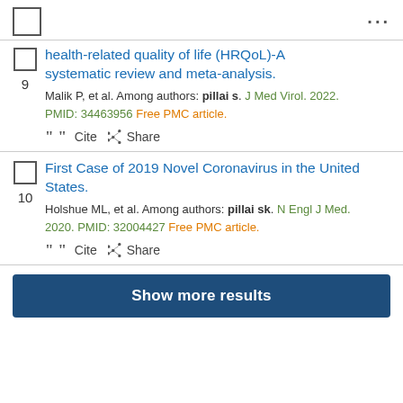9. health-related quality of life (HRQoL)-A systematic review and meta-analysis. Malik P, et al. Among authors: pillai s. J Med Virol. 2022. PMID: 34463956 Free PMC article.
10. First Case of 2019 Novel Coronavirus in the United States. Holshue ML, et al. Among authors: pillai sk. N Engl J Med. 2020. PMID: 32004427 Free PMC article.
Show more results